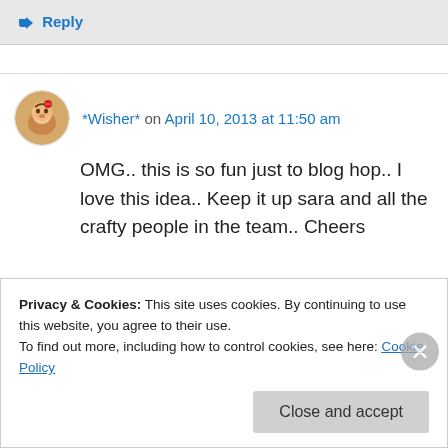↳ Reply
*Wisher* on April 10, 2013 at 11:50 am
OMG.. this is so fun just to blog hop.. I love this idea.. Keep it up sara and all the crafty people in the team.. Cheers
Privacy & Cookies: This site uses cookies. By continuing to use this website, you agree to their use.
To find out more, including how to control cookies, see here: Cookie Policy
Close and accept